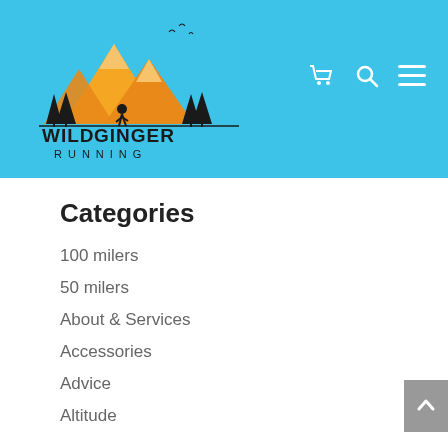Wild Ginger Running
Categories
100 milers
50 milers
About & Services
Accessories
Advice
Alpine running
Altitude
Arty running things
Barefoot running